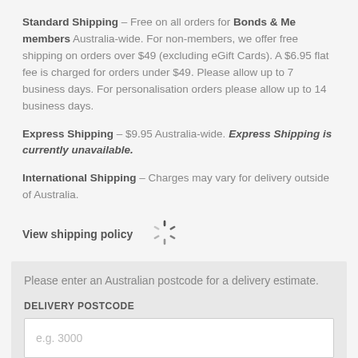Standard Shipping – Free on all orders for Bonds & Me members Australia-wide. For non-members, we offer free shipping on orders over $49 (excluding eGift Cards). A $6.95 flat fee is charged for orders under $49. Please allow up to 7 business days. For personalisation orders please allow up to 14 business days.
Express Shipping – $9.95 Australia-wide. Express Shipping is currently unavailable.
International Shipping – Charges may vary for delivery outside of Australia.
View shipping policy
Please enter an Australian postcode for a delivery estimate.
DELIVERY POSTCODE
e.g. 3000
GET ESTIMATE